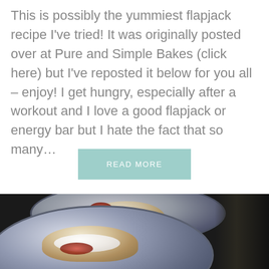This is possibly the yummiest flapjack recipe I've tried! It was originally posted over at Pure and Simple Bakes (click here) but I've reposted it below for you all – enjoy! I get hungry, especially after a workout and I love a good flapjack or energy bar but I hate the fact that so many…
READ MORE
[Figure (photo): Two blue plates each with a flapjack or scone topped with jam and cream, photographed from above on a dark background.]